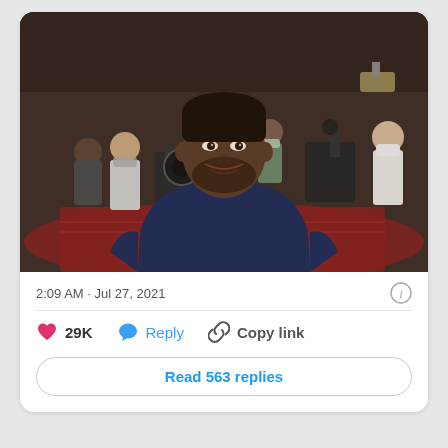[Figure (photo): Behind-the-scenes selfie on a film/TV set. A man in a navy blazer and light shirt takes a selfie from a seated position. Behind him, a group of crew members wearing face masks stand among camera equipment and film lights. The set appears to be an indoor scene with a patterned red rug and dark decor.]
2:09 AM · Jul 27, 2021
29K  Reply  Copy link
Read 563 replies